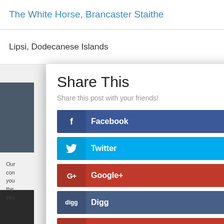The White Horse, Brancaster Staithe
Lipsi, Dodecanese Islands
Share This
Share this post with your friends!
Facebook
Twitter
Google+
Digg
Pinterest
reddit